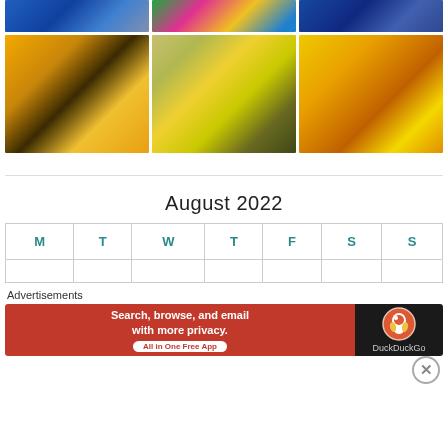[Figure (photo): Top partial row of three photos: blue artistic/hair image, colorful illustrated image, blue decorative image]
[Figure (photo): Second row of three flower photos: close-up sunflower, yellow tulips bouquet, yellow rose close-up]
August 2022
| M | T | W | T | F | S | S |
| --- | --- | --- | --- | --- | --- | --- |
|  |  |  |  |  |  |  |
Advertisements
[Figure (screenshot): DuckDuckGo advertisement banner: 'Search, browse, and email with more privacy. All in One Free App' with DuckDuckGo logo on dark background]